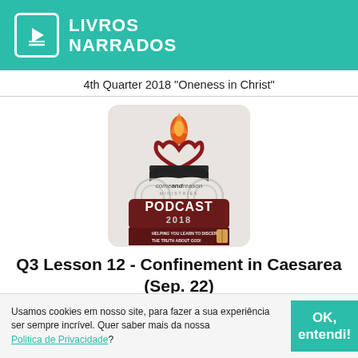LIVROS NARRADOS
4th Quarter 2018 "Oneness in Christ"
[Figure (logo): Come and Reason Ministries Podcast 2018 logo — flame and heart symbol above an open book, with text 'comeandReason MINISTRIES PODCAST 2018 HELPING YOU LEARN TO DISCERN THE TRUTH ABOUT GOD!']
Q3 Lesson 12 - Confinement in Caesarea (Sep. 22)
Usamos cookies em nosso site, para fazer a sua experiência ser sempre incrível. Quer saber mais da nossa Politica de Privacidade?